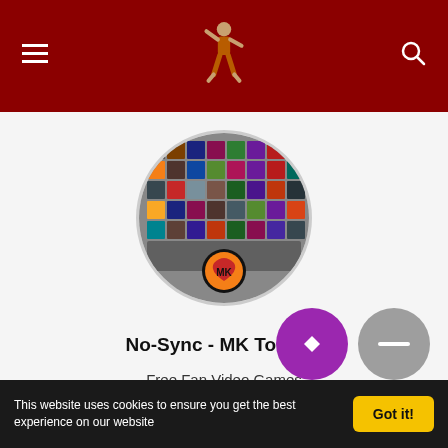Navigation header with hamburger menu, site logo (fighter figure), and search icon
[Figure (photo): Circular cropped screenshot of a Mortal Kombat character select screen showing a grid of fighter portraits and the MK dragon logo at the bottom]
No-Sync - MK Torneio
Free Fan Video Games
M.U.G.E.N.
M K
[Figure (other): Two partially visible circular buttons at bottom right: purple circle and gray circle]
This website uses cookies to ensure you get the best experience on our website  Got it!